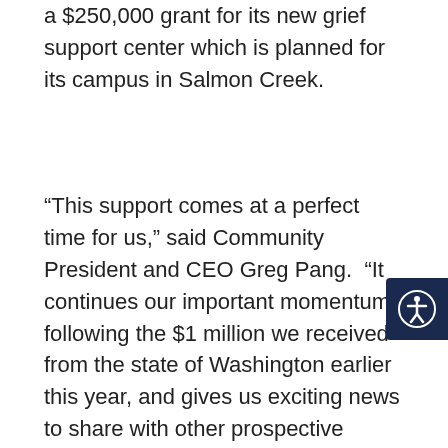a $250,000 grant for its new grief support center which is planned for its campus in Salmon Creek.
“This support comes at a perfect time for us,” said Community President and CEO Greg Pang.  “It continues our important momentum following the $1 million we received from the state of Washington earlier this year, and gives us exciting news to share with other prospective donors in the near future.”